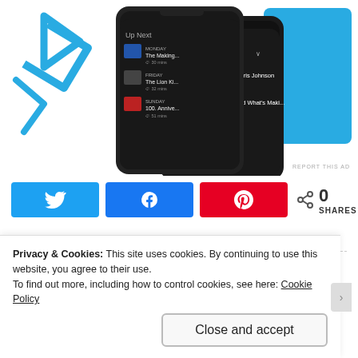[Figure (screenshot): Two smartphone screens showing a streaming app 'Up Next' queue with dark UI, including shows like 'The Making of Boris Johnson' and 'The Lion King'. Decorative blue shapes on the left side. Blue background element on the right.]
REPORT THIS AD
[Figure (infographic): Social share buttons row: Twitter (blue), Facebook (blue), Pinterest (red), and a share count showing 0 SHARES]
Published by Kelly Diane
Hello my name is Kelly and I lov...
Privacy & Cookies: This site uses cookies. By continuing to use this website, you agree to their use.
To find out more, including how to control cookies, see here: Cookie Policy
Close and accept